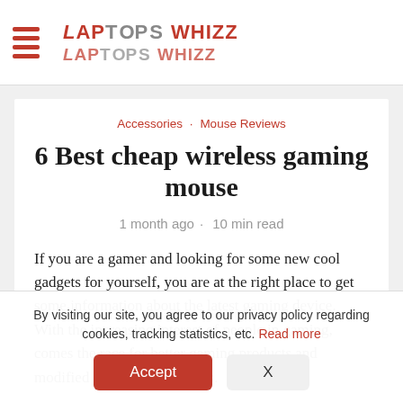Laptops Whizz (logo with hamburger menu)
Accessories · Mouse Reviews
6 Best cheap wireless gaming mouse
1 month ago · 10 min read
If you are a gamer and looking for some new cool gadgets for yourself, you are at the right place to get some information about the latest gaming device. With the increasing interest of people in gaming, comes the race for better gaming products and modified gaming instruments.
By visiting our site, you agree to our privacy policy regarding cookies, tracking statistics, etc. Read more